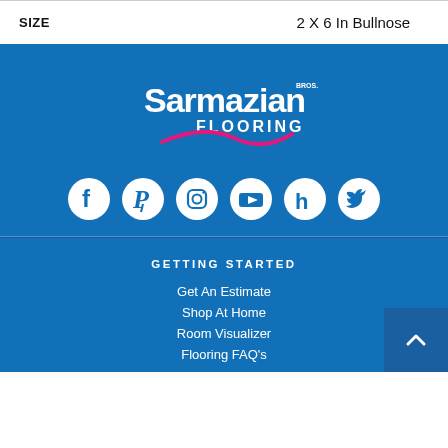| SIZE |  |
| --- | --- |
| SIZE | 2 X 6 In Bullnose |
[Figure (logo): Sarmazian Bros Flooring logo in white on blue background with pink swoosh]
[Figure (infographic): Social media icons row: Facebook, Pinterest, Instagram, YouTube, Houzz, Twitter - all white on blue background]
GETTING STARTED
Get An Estimate
Shop At Home
Room Visualizer
Flooring FAQ's